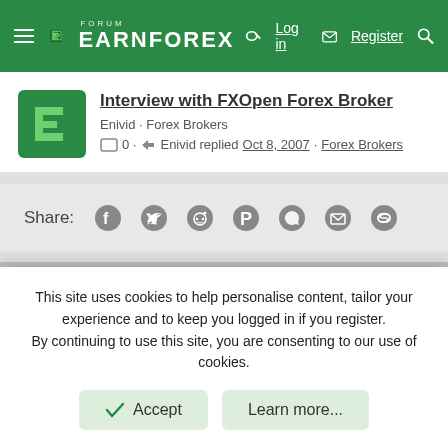FORUM EARNFOREX — Log in | Register
Interview with FXOpen Forex Broker
Enivid · Forex Brokers
0 · Enivid replied Oct 8, 2007 · Forex Brokers
Share:
This site uses cookies to help personalise content, tailor your experience and to keep you logged in if you register. By continuing to use this site, you are consenting to our use of cookies.
Accept
Learn more...